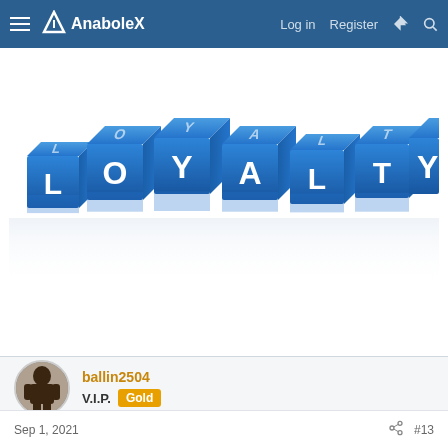AnaboleX — Log in   Register
[Figure (illustration): 3D blue letter cubes spelling LOYALTY with reflections on white background]
ballin2504
V.I.P.  Gold
Sep 1, 2021   #13